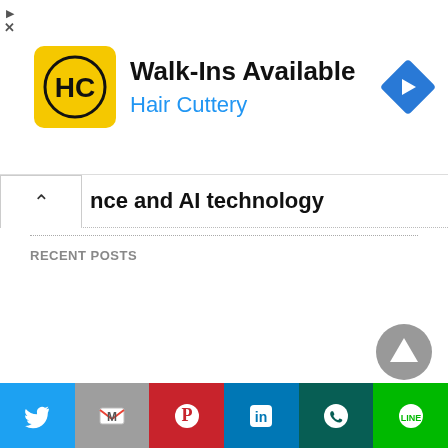[Figure (screenshot): Hair Cuttery advertisement banner with logo, 'Walk-Ins Available' headline, and navigation arrow icon]
nce and AI technology
RECENT POSTS
[Figure (screenshot): Scroll-to-top button (gray circle with upward triangle arrow)]
Social share bar: Twitter, Gmail, Pinterest, LinkedIn, WhatsApp, LINE